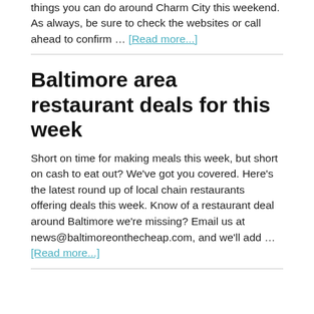things you can do around Charm City this weekend.  As always, be sure to check the websites or call ahead to confirm … [Read more...]
Baltimore area restaurant deals for this week
Short on time for making meals this week, but short on cash to eat out?  We've got you covered.  Here's the latest round up of local chain restaurants offering deals this week.  Know of a restaurant deal around Baltimore we're missing?  Email us at news@baltimoreonthecheap.com, and we'll add … [Read more...]